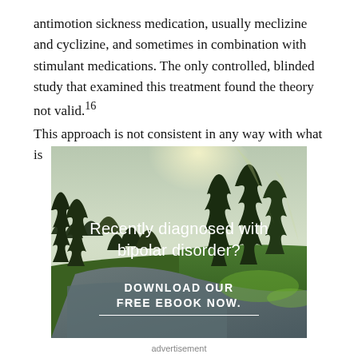antimotion sickness medication, usually meclizine and cyclizine, and sometimes in combination with stimulant medications. The only controlled, blinded study that examined this treatment found the theory not valid.¹⁶
This approach is not consistent in any way with what is
[Figure (photo): Forest scene with pine trees, a river or stream, and bright sunlight filtering through the trees. Advertisement image overlaid with text: 'Recently diagnosed with bipolar disorder? DOWNLOAD OUR FREE EBOOK NOW.' with a white underline.]
advertisement